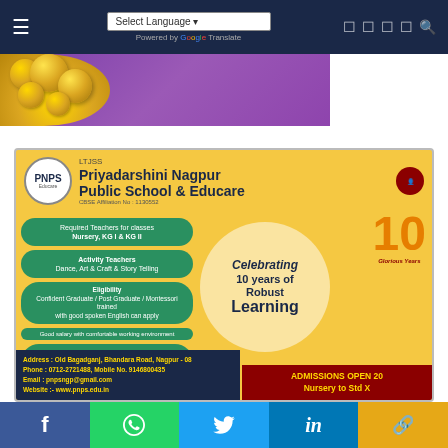Select Language | Powered by Google Translate
[Figure (photo): Top banner image with purple background and gold coins, partially cropped at top]
[Figure (infographic): School advertisement for Priyadarshini Nagpur Public School & Educare (PNPS/LTJSS) - CBSE Affiliation No: 1130552. Shows required teachers for Nursery, KG I & KG II, Activity Teachers for Dance, Art & Craft & Story Telling, Eligibility: Confident Graduate/Post Graduate/Montessori trained with good spoken English can apply. Good salary with comfortable working environment. Walk in Interview on 24/08/2022 Wednesday, between 11:00 am to 1:00 pm. Address: Old Bagadganj, Bhandara Road, Nagpur - 08. Phone: 0712-2721488, Mobile No. 9146800435. Email: pnpsngp@gmail.com. Website: www.pnps.edu.in. Celebrating 10 years of Robust Learning. Admissions Open 2022 Nursery to Std X.]
[Figure (infographic): Social media share bar with Facebook, WhatsApp, Twitter, LinkedIn, and Link buttons]